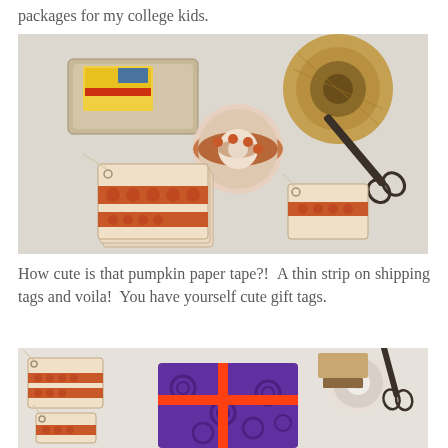packages for my college kids.
[Figure (photo): Craft supplies on a white table: shipping tags with pumpkin paper tape designs, a roll of twine, scissors, a roll of decorative tape with pumpkin pattern, and a small metal tray with supplies.]
How cute is that pumpkin paper tape?!  A thin strip on shipping tags and voila!  You have yourself cute gift tags.
[Figure (photo): Gift wrapping scene: decorated shipping tags, a wrapped purple gift with orange ribbon, scissors, tape roll, and rubber stamp on white table.]